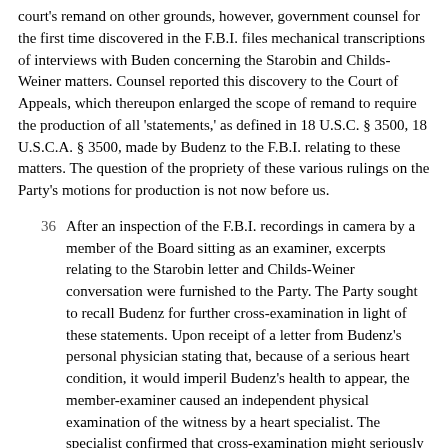court's remand on other grounds, however, government counsel for the first time discovered in the F.B.I. files mechanical transcriptions of interviews with Buden concerning the Starobin and Childs-Weiner matters. Counsel reported this discovery to the Court of Appeals, which thereupon enlarged the scope of remand to require the production of all 'statements,' as defined in 18 U.S.C. § 3500, 18 U.S.C.A. § 3500, made by Budenz to the F.B.I. relating to these matters. The question of the propriety of these various rulings on the Party's motions for production is not now before us.
36 After an inspection of the F.B.I. recordings in camera by a member of the Board sitting as an examiner, excerpts relating to the Starobin letter and Childs-Weiner conversation were furnished to the Party. The Party sought to recall Budenz for further cross-examination in light of these statements. Upon receipt of a letter from Budenz's personal physician stating that, because of a serious heart condition, it would imperil Budenz's health to appear, the member-examiner caused an independent physical examination of the witness by a heart specialist. The specialist confirmed that cross-examination might seriously affect Budenz's health or cause his death, and counsel for the Government and the Party agreed that the witness was unavailable for recall. The Party then moved that all of Budenz's testimony be stricken, on the grounds that its unreliability was shown